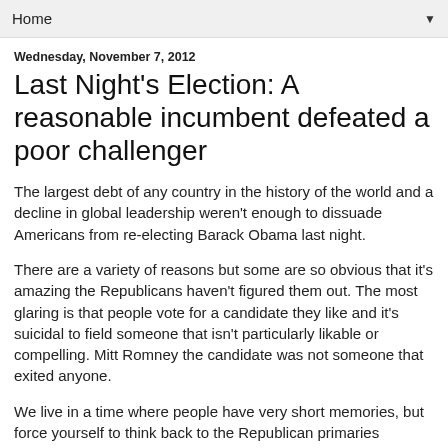Home ▼
Wednesday, November 7, 2012
Last Night's Election: A reasonable incumbent defeated a poor challenger
The largest debt of any country in the history of the world and a decline in global leadership weren't enough to dissuade Americans from re-electing Barack Obama last night.
There are a variety of reasons but some are so obvious that it's amazing the Republicans haven't figured them out. The most glaring is that people vote for a candidate they like and it's suicidal to field someone that isn't particularly likable or compelling. Mitt Romney the candidate was not someone that exited anyone.
We live in a time where people have very short memories, but force yourself to think back to the Republican primaries